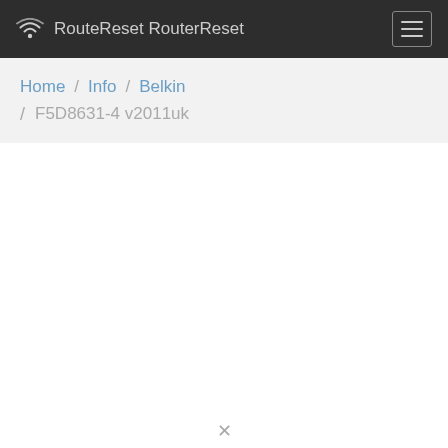RouterReset
Home / Info / Belkin / F5D8631-4 v2011uk